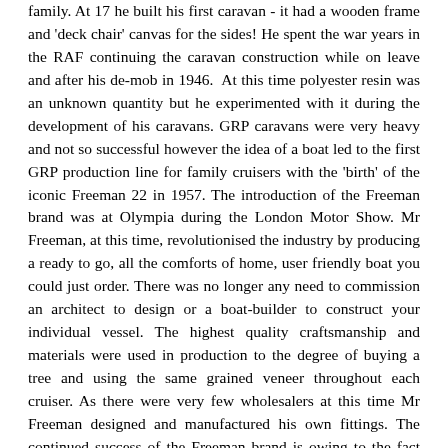family. At 17 he built his first caravan - it had a wooden frame and 'deck chair' canvas for the sides! He spent the war years in the RAF continuing the caravan construction while on leave and after his de-mob in 1946. At this time polyester resin was an unknown quantity but he experimented with it during the development of his caravans. GRP caravans were very heavy and not so successful however the idea of a boat led to the first GRP production line for family cruisers with the 'birth' of the iconic Freeman 22 in 1957. The introduction of the Freeman brand was at Olympia during the London Motor Show. Mr Freeman, at this time, revolutionised the industry by producing a ready to go, all the comforts of home, user friendly boat you could just order. There was no longer any need to commission an architect to design or a boat-builder to construct your individual vessel. The highest quality craftsmanship and materials were used in production to the degree of buying a tree and using the same grained veneer throughout each cruiser. As there were very few wholesalers at this time Mr Freeman designed and manufactured his own fittings. The continued success of the Freeman brand is owing to the fact that we are able to continue to supply virtually all of the original fittings and through the Freeman Owners Club we are not to be outdone by the larger group.